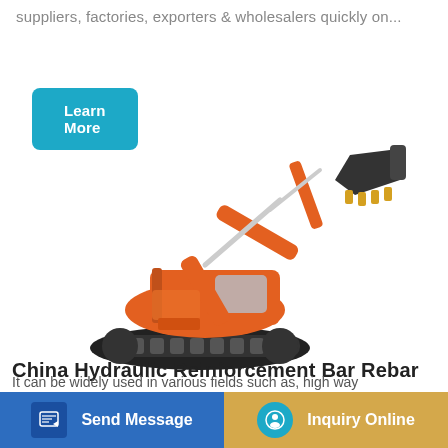suppliers, factories, exporters & wholesalers quickly on...
Learn More
[Figure (photo): Orange hydraulic excavator with black bucket on white background]
China Hydraulic Reinforcement Bar Rebar
Send Message
Inquiry Online
It can be widely used in various fields such as, high way